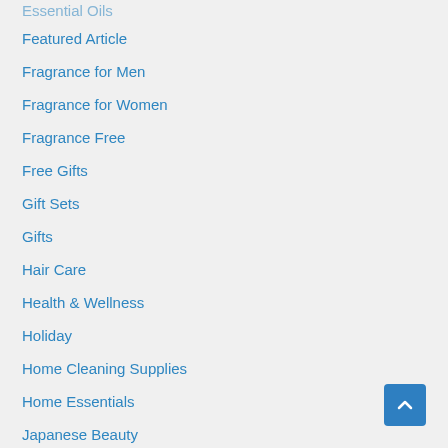Essential Oils
Featured Article
Fragrance for Men
Fragrance for Women
Fragrance Free
Free Gifts
Gift Sets
Gifts
Hair Care
Health & Wellness
Holiday
Home Cleaning Supplies
Home Essentials
Japanese Beauty
Jewelry & Fashion